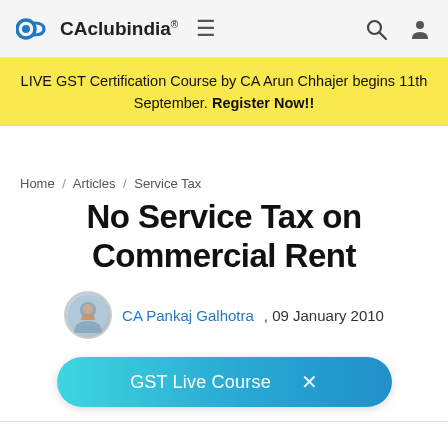CAclubindia®  ≡  🔍  👤
LIVE GST Certification Course by CA Arun Chhajer begins 11th September. Register Now!!
Home / Articles / Service Tax
No Service Tax on Commercial Rent
CA Pankaj Galhotra , 09 January 2010
[Figure (other): GST Live Course button with gradient teal/blue background and close X icon]